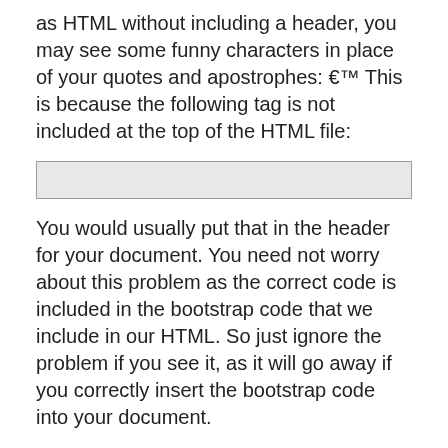as HTML without including a header, you may see some funny characters in place of your quotes and apostrophes: €™ This is because the following tag is not included at the top of the HTML file:
[Figure (other): A light grey rectangular box representing a code snippet placeholder]
You would usually put that in the header for your document. You need not worry about this problem as the correct code is included in the bootstrap code that we include in our HTML. So just ignore the problem if you see it, as it will go away if you correctly insert the bootstrap code into your document.
If you can't stand having to do things this way, I